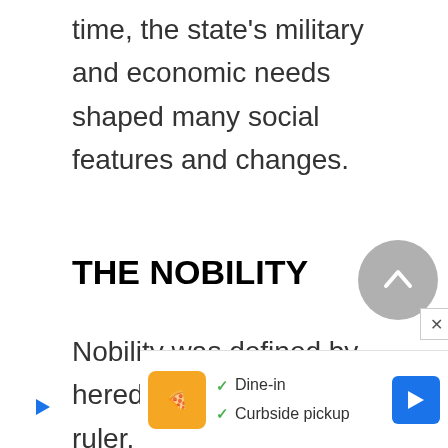time, the state's military and economic needs shaped many social features and changes.
THE NOBILITY
Nobility was defined by heredity and service to the ruler. The function of the nobility through the seventeenth century was to provide the cavalry army that was the mainstay of battle on the east European plain; in the eig... till pre...